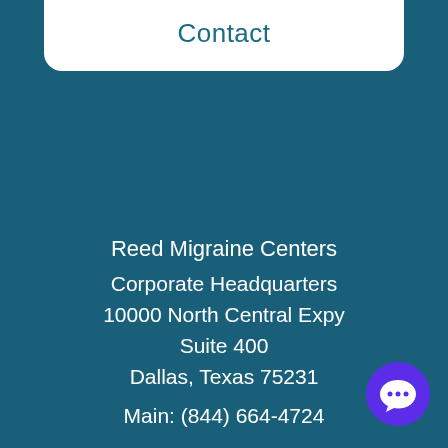Contact
Reed Migraine Centers
Corporate Headquarters
10000 North Central Expy
Suite 400
Dallas, Texas 75231

Main: (844) 664-4724
[Figure (illustration): Purple circular chat bubble icon in bottom right corner]